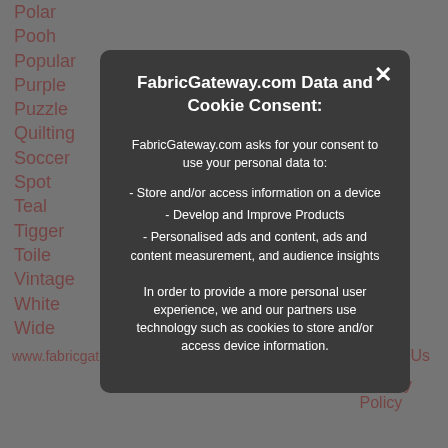Polar
Pooh
Popular
Purple
Puzzle
Quilting
Soccer
Spot
Teal
Tigger
Toile
Vintage
White
Wide
FabricGateway.com Data and Cookie Consent:
FabricGateway.com asks for your consent to use your personal data to:
- Store and/or access information on a device
- Develop and Improve Products
- Personalised ads and content, ads and content measurement, and audience insights

In order to provide a more personal user experience, we and our partners use technology such as cookies to store and/or access device information.
www.fabricga... Contact Us Privacy Policy